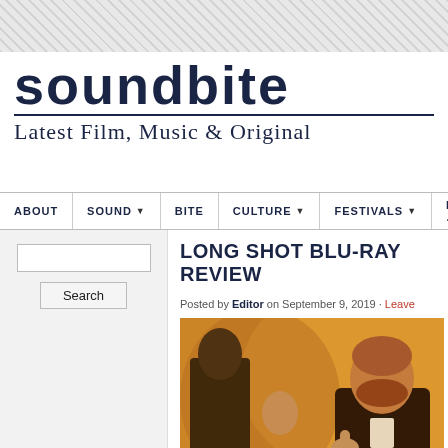soundbite
Latest Film, Music & Original
ABOUT | SOUND | BITE | CULTURE | FESTIVALS | INTERVIEWS
LONG SHOT BLU-RAY REVIEW
Posted by Editor on September 9, 2019 · Leave
[Figure (photo): Two people in formal wear at an event, warm amber lighting, one person with beard giving thumbs up wearing tuxedo]